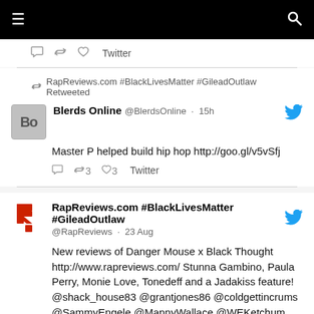☰   🔍
💬  🔁  ♡  Twitter
🔁 RapReviews.com #BlackLivesMatter #GileadOutlaw Retweeted
Blerds Online @BlerdsOnline · 15h
Master P helped build hip hop http://goo.gl/v5vSfj
💬  🔁3  ♡3  Twitter
RapReviews.com #BlackLivesMatter #GileadOutlaw @RapReviews · 23 Aug
New reviews of Danger Mouse x Black Thought http://www.rapreviews.com/ Stunna Gambino, Paula Perry, Monie Love, Tonedeff and a Jadakiss feature! @shack_house83 @grantjones86 @coldgettincrums @SammyEngele @MannyWallace @WEKetchum @JesalTV @tonedeff #hiphop 🖼